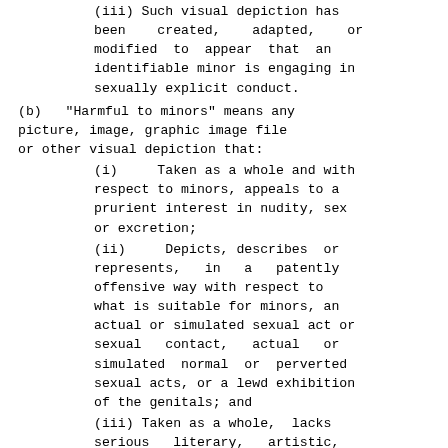(iii) Such visual depiction has been created, adapted, or modified to appear that an identifiable minor is engaging in sexually explicit conduct.
(b) "Harmful to minors" means any picture, image, graphic image file or other visual depiction that:
(i) Taken as a whole and with respect to minors, appeals to a prurient interest in nudity, sex or excretion;
(ii) Depicts, describes or represents, in a patently offensive way with respect to what is suitable for minors, an actual or simulated sexual act or sexual contact, actual or simulated normal or perverted sexual acts, or a lewd exhibition of the genitals; and
(iii) Taken as a whole, lacks serious literary, artistic, political or scientific value as to minors.
(c) "Minor" means anyone who has